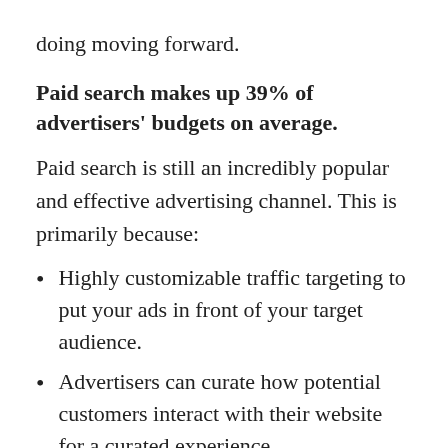doing moving forward.
Paid search makes up 39% of advertisers' budgets on average.
Paid search is still an incredibly popular and effective advertising channel. This is primarily because:
Highly customizable traffic targeting to put your ads in front of your target audience.
Advertisers can curate how potential customers interact with their website for a curated experience.